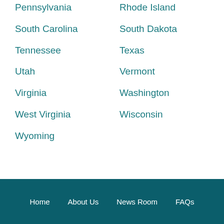Pennsylvania
Rhode Island
South Carolina
South Dakota
Tennessee
Texas
Utah
Vermont
Virginia
Washington
West Virginia
Wisconsin
Wyoming
Home   About Us   News Room   FAQs